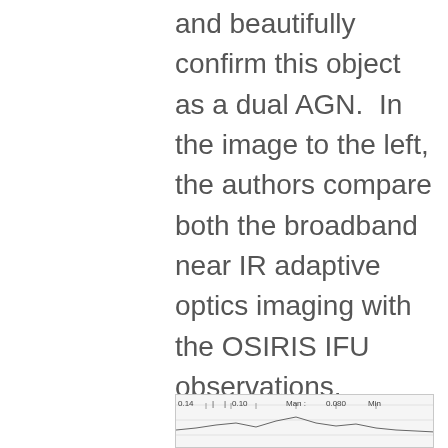and beautifully confirm this object as a dual AGN.  In the image to the left, the authors compare both the broadband near IR adaptive optics imaging with the OSIRIS IFU observations.  Clearly, the IFU observes at lower spatial resolution, however, it is also clearly able to separate two blobs of emission, corresponding to two distinct galaxies at z = 0.34.
[Figure (other): Partial view of a scientific plot or spectrum strip showing axis labels: 0.14, 0.10, Man, 0.080, Min]